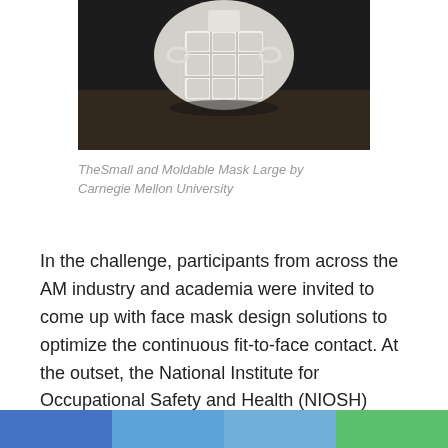[Figure (photo): A 3D-printed white face mask component showing a grid/lattice structure with four square openings, photographed on a dark surface. The mask appears to be a filter frame component.]
TheSmall and Moldable Mask Large by Carnegie Mellon University
In the challenge, participants from across the AM industry and academia were invited to come up with face mask design solutions to optimize the continuous fit-to-face contact. At the outset, the National Institute for Occupational Safety and Health (NIOSH) provided five digital headform datasets to help participants design the